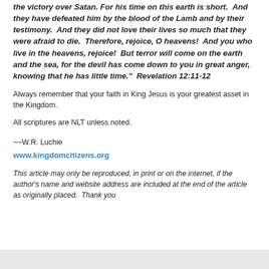the victory over Satan. For his time on this earth is short. And they have defeated him by the blood of the Lamb and by their testimony. And they did not love their lives so much that they were afraid to die. Therefore, rejoice, O heavens! And you who live in the heavens, rejoice! But terror will come on the earth and the sea, for the devil has come down to you in great anger, knowing that he has little time." Revelation 12:11-12
Always remember that your faith in King Jesus is your greatest asset in the Kingdom.
All scriptures are NLT unless noted.
~~W.R. Luchie
www.kingdomcitizens.org
This article may only be reproduced, in print or on the internet, if the author's name and website address are included at the end of the article as originally placed. Thank you